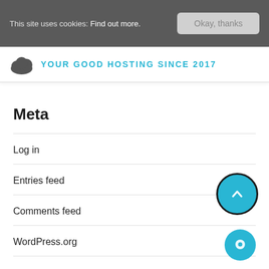This site uses cookies: Find out more.  Okay, thanks
[Figure (logo): Cloud logo with text YOUR GOOD HOSTING SINCE 2017 in cyan]
Meta
Log in
Entries feed
Comments feed
WordPress.org